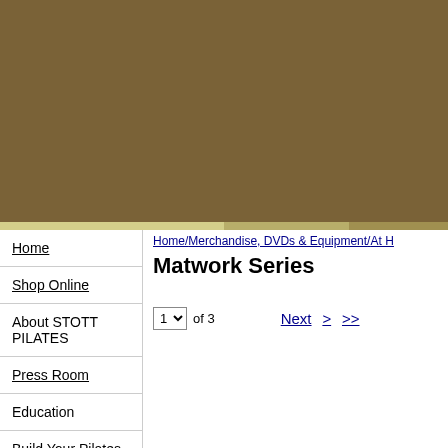[Figure (screenshot): Dark olive/brown rectangular header banner image]
Home/Merchandise, DVDs & Equipment/At H
Matwork Series
Home
Shop Online
About STOTT PILATES
Press Room
Education
Build Your Pilates
1 of 3  Next > >>